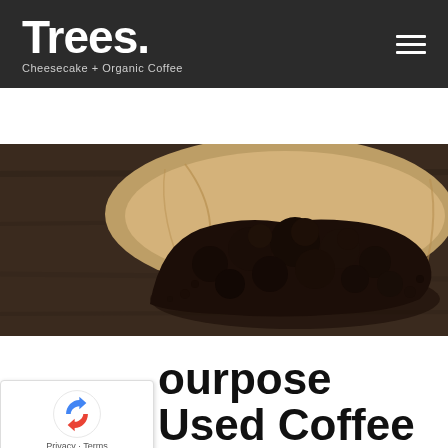Trees. Cheesecake + Organic Coffee
[Figure (photo): Close-up photo of used coffee grounds in a brown paper coffee filter, placed on a dark wooden surface.]
purpose Used Coffee Grounds With These